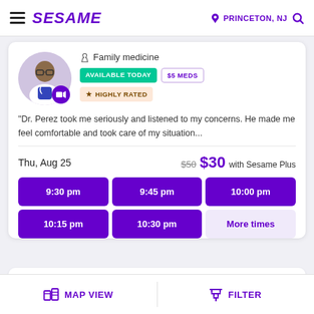SESAME | PRINCETON, NJ
[Figure (photo): Doctor photo with video camera badge, showing a male doctor with glasses in a blue vest]
Family medicine
AVAILABLE TODAY | $5 MEDS | ★ HIGHLY RATED
"Dr. Perez took me seriously and listened to my concerns. He made me feel comfortable and took care of my situation...
Thu, Aug 25
$50 $30 with Sesame Plus
9:30 pm | 9:45 pm | 10:00 pm | 10:15 pm | 10:30 pm | More times
MAP VIEW | FILTER